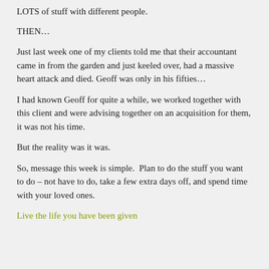LOTS of stuff with different people.
THEN…
Just last week one of my clients told me that their accountant came in from the garden and just keeled over, had a massive heart attack and died. Geoff was only in his fifties…
I had known Geoff for quite a while, we worked together with this client and were advising together on an acquisition for them, it was not his time.
But the reality was it was.
So, message this week is simple.  Plan to do the stuff you want to do – not have to do, take a few extra days off, and spend time with your loved ones.
Live the life you have been given